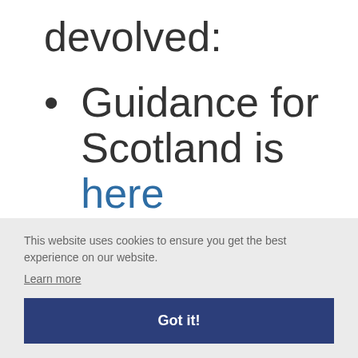devolved:
Guidance for Scotland is here
This website uses cookies to ensure you get the best experience on our website.
Learn more
Got it!